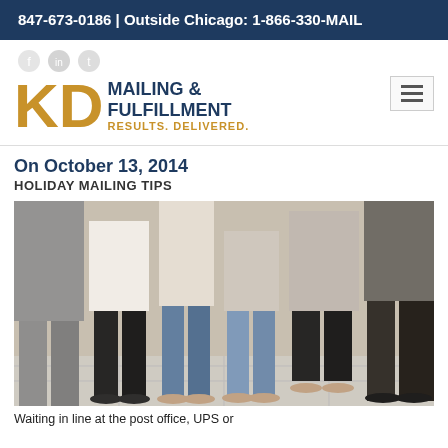847-673-0186 | Outside Chicago: 1-866-330-MAIL
[Figure (logo): KD Mailing & Fulfillment logo with tagline RESULTS. DELIVERED.]
On October 13, 2014
HOLIDAY MAILING TIPS
[Figure (photo): People waiting in line at the post office, showing legs and feet of several people standing on a tile floor.]
Waiting in line at the post office, UPS or